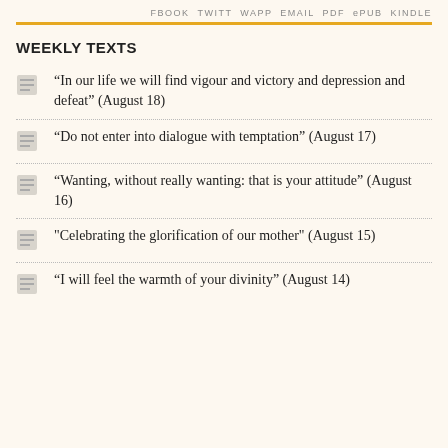FBOOK  TWITT  WAPP  EMAIL  PDF  ePUB  KINDLE
WEEKLY TEXTS
“In our life we will find vigour and victory and depression and defeat” (August 18)
“Do not enter into dialogue with temptation” (August 17)
“Wanting, without really wanting: that is your attitude” (August 16)
"Celebrating the glorification of our mother" (August 15)
“I will feel the warmth of your divinity” (August 14)